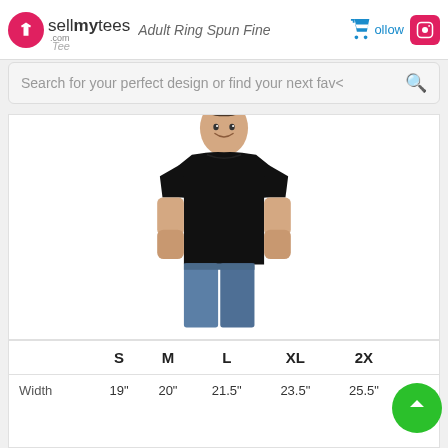sellmytees.com | Adult Ring Spun Fine Tee | Follow
Search for your perfect design or find your next favo
[Figure (photo): Man wearing a black crew-neck t-shirt and blue jeans, white cap, smiling, product photo on white background]
|  | S | M | L | XL | 2X |
| --- | --- | --- | --- | --- | --- |
| Width | 19" | 20" | 21.5" | 23.5" | 25.5" | 27 |